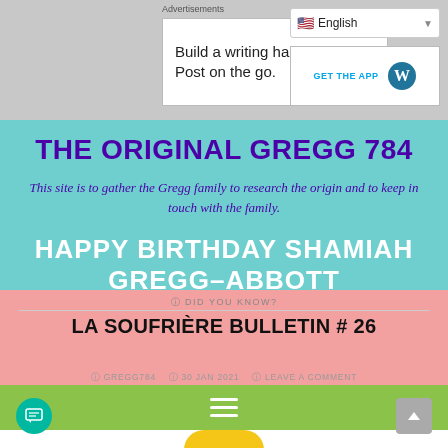[Figure (screenshot): Advertisement bar with 'Build a writing habit. Post on the go.' ad and WordPress GET THE APP button, plus English language selector]
THE ORIGINAL GREGG 784
This site is to gather the Gregg family to research the origin and to keep in touch with the family.
HAPPY BIRTHDAY SHAMIAH GREGG-ABBOTT
[Figure (other): Green navigation bar with hamburger menu icon]
ⓘ DID YOU KNOW?
LA SOUFRIÈRE BULLETIN # 26
ⓘ GREGG784  ⓘ 30 JAN 2021  ⓘ LEAVE A COMMENT
[Figure (other): Partial yellow circle image preview at bottom]